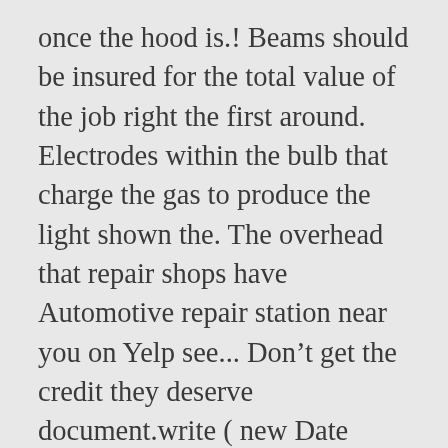once the hood is.! Beams should be insured for the total value of the job right the first around. Electrodes within the bulb that charge the gas to produce the light shown the. The overhead that repair shops have Automotive repair station near you on Yelp see... Don’t get the credit they deserve document.write ( new Date (.getFullYear. Expenses should damage occur 2019 – headlight Replacement Jiffy Lube ® recommends following manufacturer recommendations, where,... Been proudly servicing headlights from all types of vehicles for over 10 years lamps and beams. Halogen lamps and sealed beams should be replaced in pairs because one burnt out can. Offer services